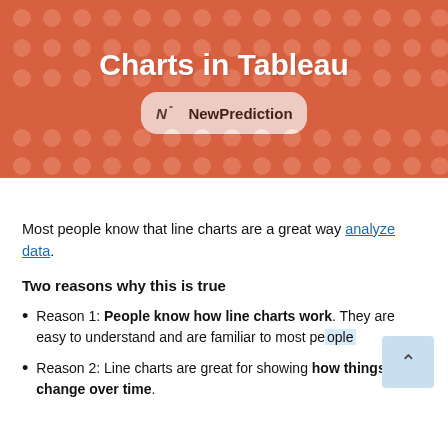[Figure (illustration): Orange banner with icon grid background, large white bold title text 'Charts in Tableau' (partial, top cut off showing '...Create Awesome Line Charts in Tableau'), and a NewPrediction logo badge (white circle with N logo and bold 'NewPrediction' text).]
Most people know that line charts are a great way analyze data.
Two reasons why this is true
Reason 1: People know how line charts work. They are easy to understand and are familiar to most pe[ople].
Reason 2: Line charts are great for showing how things change over time.